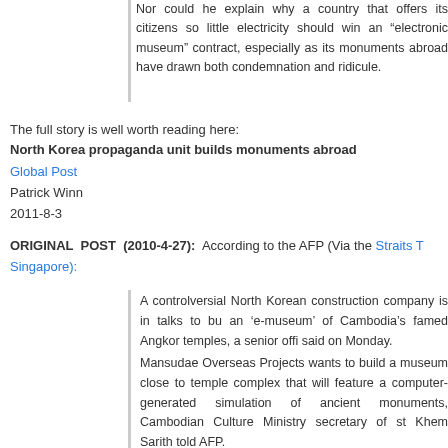Nor could he explain why a country that offers its citizens so little electricity should win an “electronic museum” contract, especially as its monuments abroad have drawn both condemnation and ridicule.
The full story is well worth reading here:
North Korea propaganda unit builds monuments abroad
Global Post
Patrick Winn
2011-8-3
ORIGINAL POST (2010-4-27): According to the AFP (Via the Straits Times Singapore):
A controlversial North Korean construction company is in talks to build an ‘e-museum’ of Cambodia’s famed Angkor temples, a senior official said on Monday.
Mansudae Overseas Projects wants to build a museum close to the temple complex that will feature a computer-generated simulation of the ancient monuments, Cambodian Culture Ministry secretary of state Khem Sarith told AFP.
‘They have plans to build an electronic museum detailing the history of Angkor Wat temples,’ he said, adding he supported the plans after discussions last week with a company delegation and North Korean ambassador Ri In Sok.
Previous work by the North Korean company building major monuments in African countries has been criticised for lack of transparency…